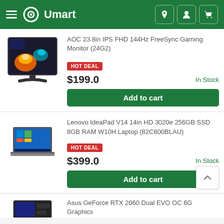Umart
AOC 23.8in IPS FHD 144Hz FreeSync Gaming Monitor (24G2)
HOT DEAL
$199.0
In Stock
Add to cart
Lenovo IdeaPad V14 14in HD 3020e 256GB SSD 8GB RAM W10H Laptop (82C600BLAU)
HOT DEAL
$399.0
In Stock
Add to cart
Asus GeForce RTX 2060 Dual EVO OC 6G Graphics